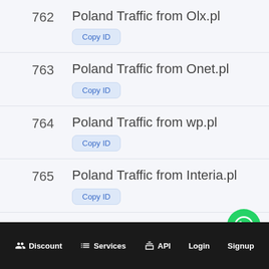762  Poland Traffic from Olx.pl
763  Poland Traffic from Onet.pl
764  Poland Traffic from wp.pl
765  Poland Traffic from Interia.pl
766  Poland Traffic from otomoto.pl
Discount  Services  API  Login  Signup